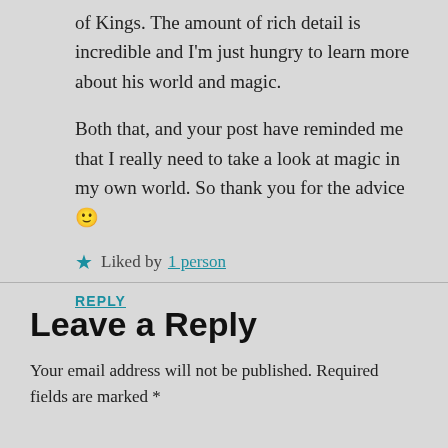of Kings. The amount of rich detail is incredible and I'm just hungry to learn more about his world and magic.
Both that, and your post have reminded me that I really need to take a look at magic in my own world. So thank you for the advice 🙂
★ Liked by 1 person
REPLY
Leave a Reply
Your email address will not be published. Required fields are marked *